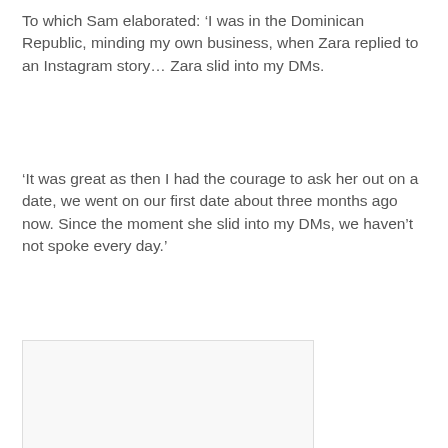To which Sam elaborated: ‘I was in the Dominican Republic, minding my own business, when Zara replied to an Instagram story… Zara slid into my DMs.
‘It was great as then I had the courage to ask her out on a date, we went on our first date about three months ago now. Since the moment she slid into my DMs, we haven’t not spoke every day.’
[Figure (photo): A photo placeholder with light gray background and border]